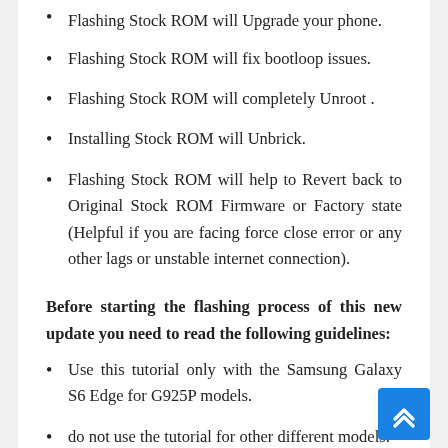Flashing Stock ROM will Upgrade your phone.
Flashing Stock ROM will fix bootloop issues.
Flashing Stock ROM will completely Unroot .
Installing Stock ROM will Unbrick.
Flashing Stock ROM will help to Revert back to Original Stock ROM Firmware or Factory state (Helpful if you are facing force close error or any other lags or unstable internet connection).
Before starting the flashing process of this new update you need to read the following guidelines:
Use this tutorial only with the Samsung Galaxy S6 Edge for G925P models.
do not use the tutorial for other different models.